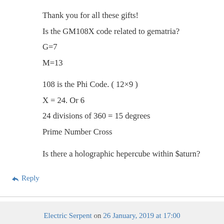Thank you for all these gifts!
Is the GM108X code related to gematria?
G=7
M=13
108 is the Phi Code. ( 12×9 )
X = 24. Or 6
24 divisions of 360 = 15 degrees
Prime Number Cross
Is there a holographic hepercube within $aturn?
↳ Reply
Electric Serpent on 26 January, 2019 at 17:00
yes on the gematria, exactly.yes much to